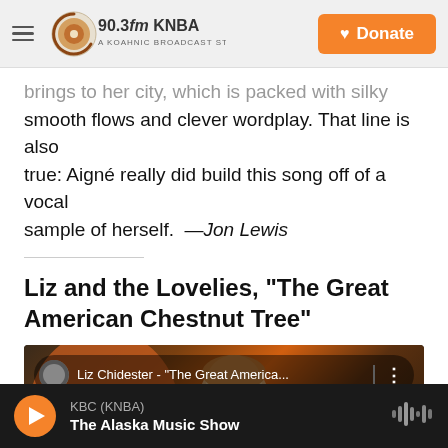90.3fm KNBA — A Koahnic Broadcast Station | Donate
…brings to her city, which is packed with silky smooth flows and clever wordplay. That line is also true: Aigné really did build this song off of a vocal sample of herself.  —Jon Lewis
Liz and the Lovelies, "The Great American Chestnut Tree"
[Figure (screenshot): YouTube video thumbnail for Liz Chidester - 'The Great American Chestnut Tree' showing a woman singing with curly hair against a warm orange background]
KBC (KNBA) — The Alaska Music Show